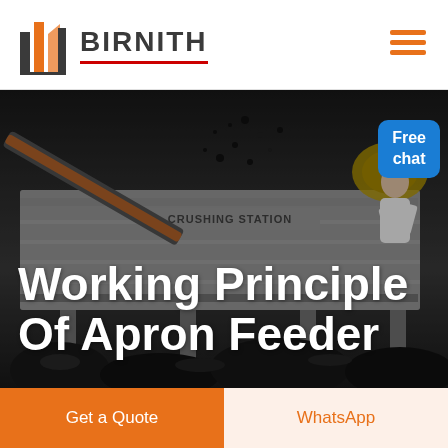BIRNITH
[Figure (photo): Industrial crushing station machinery with apron feeder equipment, dark rocks/coal in foreground, large mechanical structure visible with 'CRUSHING STATION' text on the machine. Dark moody industrial setting.]
Working Principle Of Apron Feeder
Free chat
Get a Quote
WhatsApp